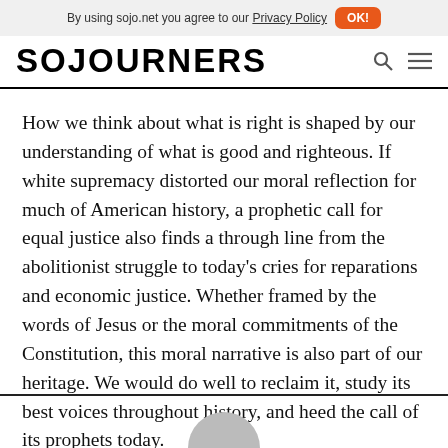By using sojo.net you agree to our Privacy Policy  OK!
[Figure (logo): SOJOURNERS logo in bold black uppercase letters with search and menu icons]
How we think about what is right is shaped by our understanding of what is good and righteous. If white supremacy distorted our moral reflection for much of American history, a prophetic call for equal justice also finds a through line from the abolitionist struggle to today's cries for reparations and economic justice. Whether framed by the words of Jesus or the moral commitments of the Constitution, this moral narrative is also part of our heritage. We would do well to reclaim it, study its best voices throughout history, and heed the call of its prophets today.